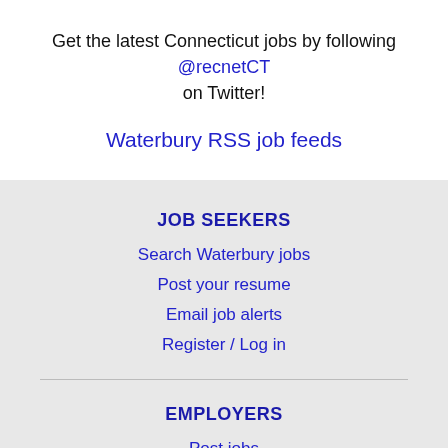Get the latest Connecticut jobs by following @recnetCT on Twitter!
Waterbury RSS job feeds
JOB SEEKERS
Search Waterbury jobs
Post your resume
Email job alerts
Register / Log in
EMPLOYERS
Post jobs